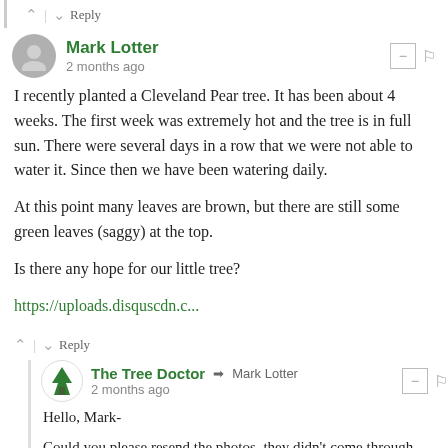^ | v Reply
Mark Lotter
2 months ago
I recently planted a Cleveland Pear tree. It has been about 4 weeks. The first week was extremely hot and the tree is in full sun. There were several days in a row that we were not able to water it. Since then we have been watering daily.

At this point many leaves are brown, but there are still some green leaves (saggy) at the top.

Is there any hope for our little tree?

https://uploads.disquscdn.c...
^ | v Reply
The Tree Doctor → Mark Lotter
2 months ago
Hello, Mark-
Could you please resend the photos, they didn't come through.

Thank you!